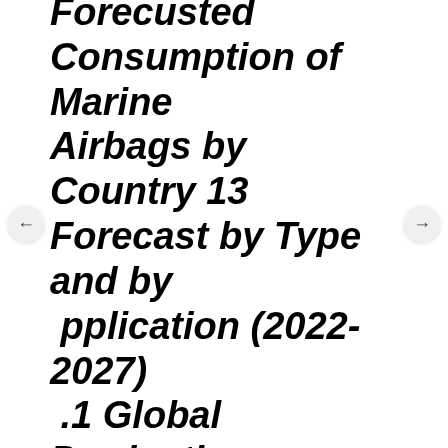Forecasted Consumption of Marine Airbags by Country 13 Forecast by Type and by Application (2022-2027) .1 Global Production, Revenue and Price Forecast by Type (2022-2027) 13.1.1 Global Forecasted Production of